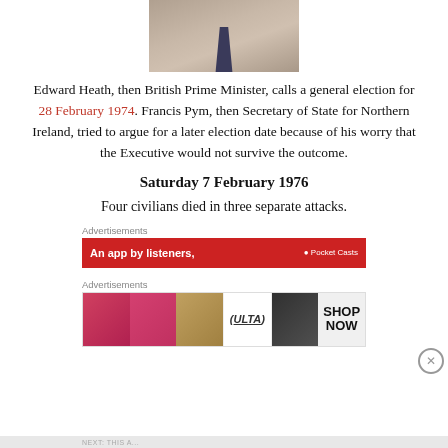[Figure (photo): Partial photo of a man (Edward Heath) showing chin, collar/tie area from neck down]
Edward Heath, then British Prime Minister, calls a general election for 28 February 1974. Francis Pym, then Secretary of State for Northern Ireland, tried to argue for a later election date because of his worry that the Executive would not survive the outcome.
Saturday 7 February 1976
Four civilians died in three separate attacks.
Advertisements
[Figure (screenshot): Red advertisement banner: 'An app by listeners,' with Pocket Casts logo on right]
Advertisements
[Figure (screenshot): ULTA beauty advertisement with makeup/lips/eyes images and SHOP NOW text]